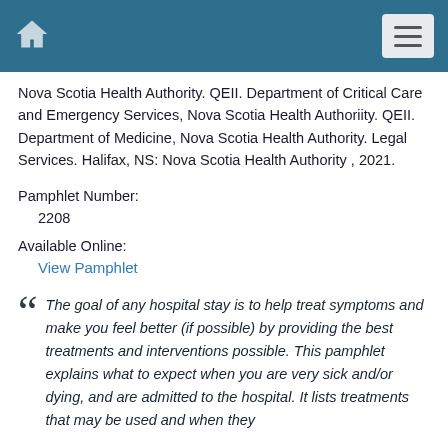Nova Scotia Health Authority. QEII. Department of Critical Care and Emergency Services, Nova Scotia Health Authoriity. QEII. Department of Medicine, Nova Scotia Health Authority. Legal Services. Halifax, NS: Nova Scotia Health Authority , 2021.
Pamphlet Number:
2208
Available Online:
View Pamphlet
The goal of any hospital stay is to help treat symptoms and make you feel better (if possible) by providing the best treatments and interventions possible. This pamphlet explains what to expect when you are very sick and/or dying, and are admitted to the hospital. It lists treatments that may be used and when they